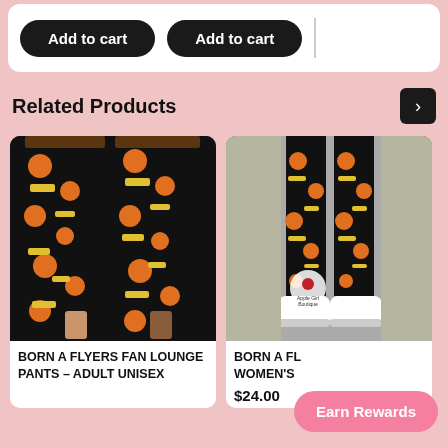[Figure (screenshot): Two 'Add to cart' buttons on a pink background inside a white rounded card]
Related Products
[Figure (photo): Two people wearing black Flyers-themed lounge pants with orange and yellow patterns]
BORN A FLYERS FAN LOUNGE PANTS - ADULT UNISEX
[Figure (photo): Person wearing black Flyers-themed leggings, standing in white sneakers, with Apple Girl Boutique watermark]
BORN A FL... WOMEN'S
$24.00
Earn Rewards